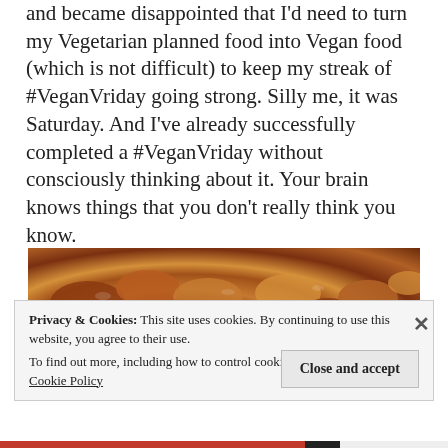and became disappointed that I'd need to turn my Vegetarian planned food into Vegan food (which is not difficult) to keep my streak of #VeganVriday going strong. Silly me, it was Saturday. And I've already successfully completed a #VeganVriday without consciously thinking about it. Your brain knows things that you don't really think you know.
[Figure (photo): Close-up photo of a bowl of mixed nuts including almonds, cashews, and pecans on a white surface]
Privacy & Cookies: This site uses cookies. By continuing to use this website, you agree to their use.
To find out more, including how to control cookies, see here: Cookie Policy
Close and accept